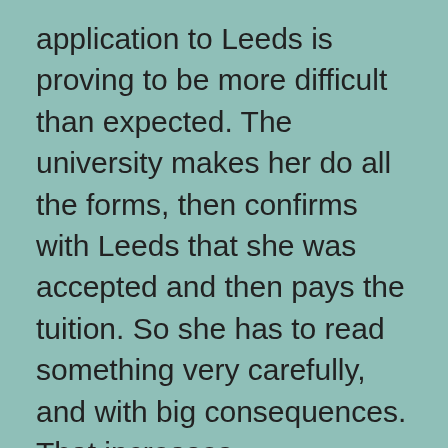application to Leeds is proving to be more difficult than expected. The university makes her do all the forms, then confirms with Leeds that she was accepted and then pays the tuition. So she has to read something very carefully, and with big consequences. That increases comprehension tremendously. She has chosen a very light schedule, which I think is wise. Best place to learn is outside class. She saw a video of a prof there, and could not understand a word of his accent. She is wondering what she got herself into…